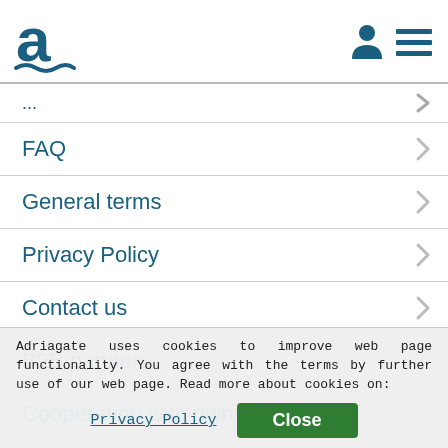Adriagate logo, user icon, menu icon
FAQ
General terms
Privacy Policy
Contact us
B2B partners
Cooperation with owners
Adriagate uses cookies to improve web page functionality. You agree with the terms by further use of our web page. Read more about cookies on:
Privacy Policy  Close